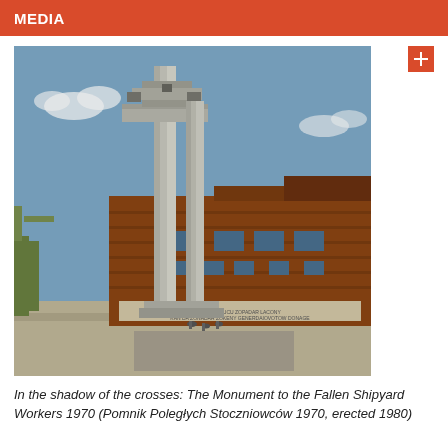MEDIA
[Figure (photo): Photograph of the Monument to the Fallen Shipyard Workers 1970 (Pomnik Poległych Stoczniowców 1970, erected 1980). Tall concrete cross-topped pillars in front of a large rust-colored industrial building under a blue sky.]
In the shadow of the crosses: The Monument to the Fallen Shipyard Workers 1970 (Pomnik Poległych Stoczniowców 1970, erected 1980)